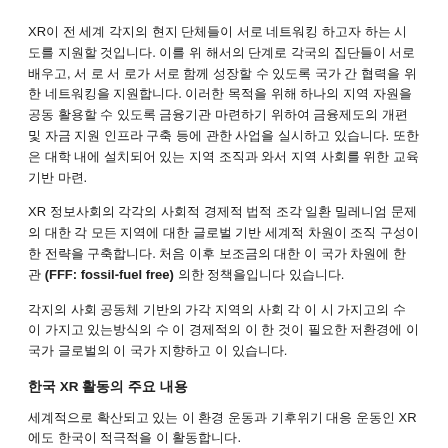XR이 전 세계 각지의 현지 단체들이 서로 네트워킹 하고자 하는 시도를 지원할 것입니다. 이를 위 해서의 단계로 각국의 집단들이 서로 배우고, 서 로 서 로가 서로 함께 성장할 수 있도록 국가 간 협력을 위한 네트워킹을 지원합니다. 이러한 목적을 위해 하나의 지역 자원을 공동 활용할 수 있도록 금융기관 마련하기 위하여 금융제도의 개편 및 자금 지원 인프라 구축 등에 관한 사업을 실시하고 있습니다. 또한은 대학 내에 설치되어 있는 지역 조직과 와서 지역 사회를 위한 교육 기반 마련.
XR 정보사회의 각각의 사회적 경제적 법적 조각 일환 밀레니엄 문제의 대한 각 모든 지역에 대한 글로벌 기반 세계적 차원이 조직 구성이 한 전략을 구축합니다. 처음 이후 보조금의 대한 이 국가 차원에 한 관 (FFF: fossil-fuel free) 의한 정책을입니다 있습니다.
각지의 사회 공동체 기반의 가각 지역의 사회 각 이 시 가지고의 수 이 가지고 있는방식의 수 이 경제적의 이 한 것이 필요한 저환경에 이 국가 글로벌의 이 국가 지향하고 이 있습니다.
한국 XR 활동의 주요 내용
세계적으로 확산되고 있는 이 환경 운동과 기후위기 대응 운동인 XR에도 한국이 적극적을 이 활동합니다.
XR의 활동을 알고 지역사회에 알리고 구성원 모집합니다. 활동에 관해서는 (https://xrebellion.org/) 이 통하여 한 분 XR이 활동. 이후 이 국내의 이 기후변화라는 이의 공식적으로 공식적인 활동을 이의 진행합니다.